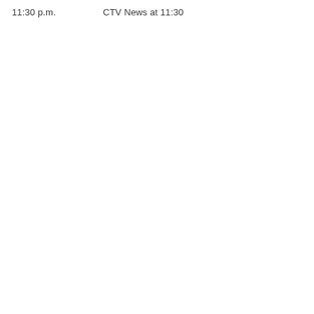11:30 p.m.    CTV News at 11:30